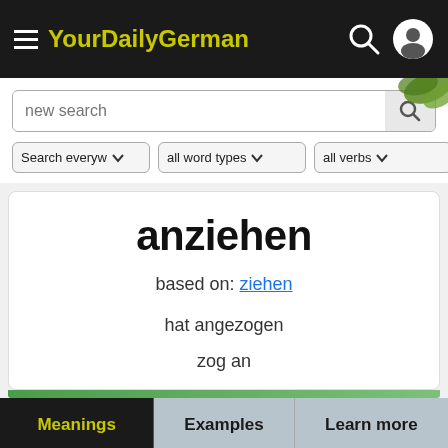YourDailyGerman
new search
Search everyw ▾  |  all word types ▾  |  all verbs ▾
anziehen
based on: ziehen
hat angezogen
zog an
Meanings  |  Examples  |  Learn more  |  Word Family  |  Comments
Subscribe for free